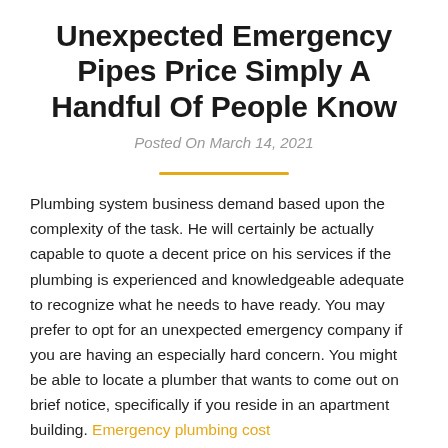Unexpected Emergency Pipes Price Simply A Handful Of People Know
Posted On March 14, 2021
Plumbing system business demand based upon the complexity of the task. He will certainly be actually capable to quote a decent price on his services if the plumbing is experienced and knowledgeable adequate to recognize what he needs to have ready. You may prefer to opt for an unexpected emergency company if you are having an especially hard concern. You might be able to locate a plumber that wants to come out on brief notice, specifically if you reside in an apartment building. Emergency plumbing cost
They are going to additionally demand extra for